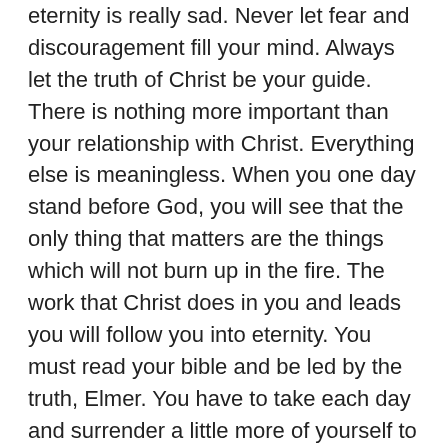eternity is really sad. Never let fear and discouragement fill your mind. Always let the truth of Christ be your guide. There is nothing more important than your relationship with Christ. Everything else is meaningless. When you one day stand before God, you will see that the only thing that matters are the things which will not burn up in the fire. The work that Christ does in you and leads you will follow you into eternity. You must read your bible and be led by the truth, Elmer. You have to take each day and surrender a little more of yourself to God. Your career won't matter when you die. Seek the things that will last. I will be praying that you will start to draw closer to Christ and be led by him.
Baptism is a command of Christ. It is to reflect a